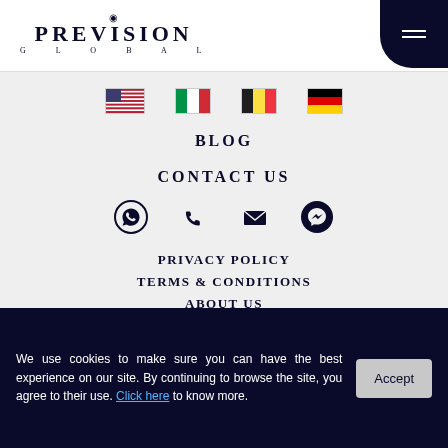[Figure (logo): Prevision Global logo with eye icon above text and 'GLOBAL' subtitle below]
[Figure (infographic): Dark navy rounded square hamburger menu button in top right corner]
[Figure (infographic): Four country flags in a row: USA, Italy, Belgium, Germany]
BLOG
CONTACT US
[Figure (infographic): Four contact icons: WhatsApp, phone, email/envelope, Messenger]
PRIVACY POLICY
TERMS & CONDITIONS
ABOUT US
We use cookies to make sure you can have the best experience on our site. By continuing to browse the site, you agree to their use. Click here to know more.